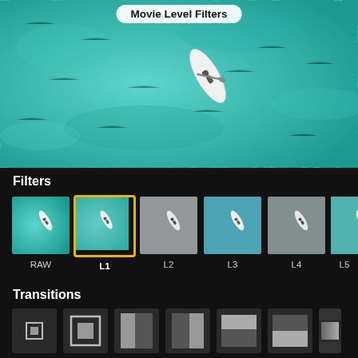Movie Level Filters
[Figure (screenshot): Aerial view of a person on a paddleboard on turquoise/teal water, seen from above. The paddleboard is white and the water is a bright aqua-teal color.]
Filters
[Figure (screenshot): A horizontal row of filter thumbnail options: RAW (no border), L1 (selected, yellow border), L2 (gray tint), L3 (blue tint), L4 (gray tint), L5 (partially visible). Each thumbnail shows the paddleboard aerial scene with respective filter applied.]
Transitions
[Figure (screenshot): A horizontal row of transition thumbnail icons on dark background: Zoom Out (small square centered), Zoom In (larger square centered), Left (vertical bar left side), Right (vertical bar right side), Up (horizontal bar top), Down (horizontal bar bottom), Dissolve (partially visible gradient). Labels below each icon.]